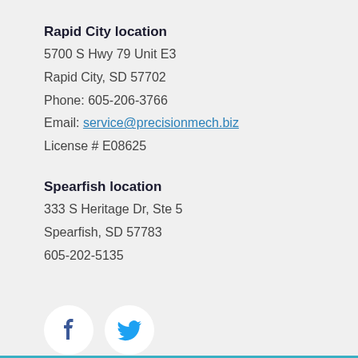Rapid City location
5700 S Hwy 79 Unit E3
Rapid City, SD 57702
Phone: 605-206-3766
Email: service@precisionmech.biz
License # E08625
Spearfish location
333 S Heritage Dr, Ste 5
Spearfish, SD 57783
605-202-5135
[Figure (logo): Facebook and Twitter social media icons in white circles on grey background]